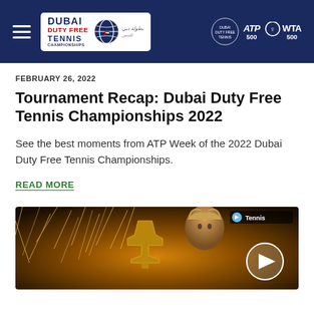Dubai Duty Free Tennis Championships – navigation header with logo, ATP 500, WTA 500 badges
FEBRUARY 26, 2022
Tournament Recap: Dubai Duty Free Tennis Championships 2022
See the best moments from ATP Week of the 2022 Dubai Duty Free Tennis Championships.
READ MORE
[Figure (photo): Video thumbnail showing a tennis player holding a trophy with sparkle/fireworks background and a play button overlay. Tennis TV badge in top right.]